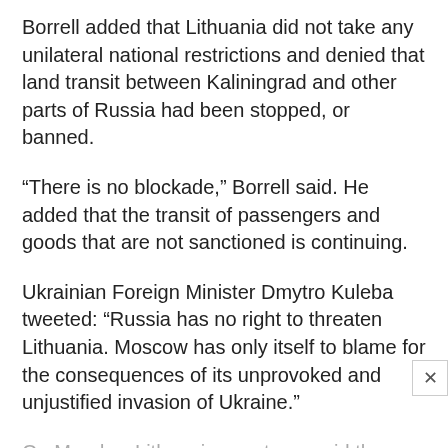Borrell added that Lithuania did not take any unilateral national restrictions and denied that land transit between Kaliningrad and other parts of Russia had been stopped, or banned.
“There is no blockade,” Borrell said. He added that the transit of passengers and goods that are not sanctioned is continuing.
Ukrainian Foreign Minister Dmytro Kuleba tweeted: “Russia has no right to threaten Lithuania. Moscow has only itself to blame for the consequences of its unprovoked and unjustified invasion of Ukraine.”
On Monday, Lithuanian customs said the